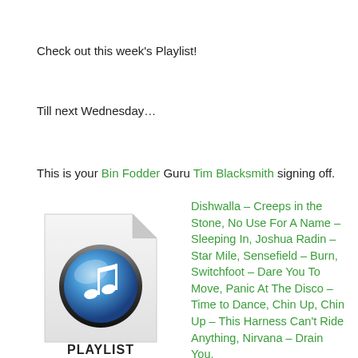Check out this week's Playlist!
Till next Wednesday...
This is your Bin Fodder Guru Tim Blacksmith signing off.
[Figure (illustration): iTunes/music playlist file icon with a musical note and text PLAYLIST at bottom]
Dishwalla – Creeps in the Stone, No Use For A Name – Sleeping In, Joshua Radin – Star Mile, Sensefield – Burn, Switchfoot – Dare You To Move, Panic At The Disco – Time to Dance, Chin Up, Chin Up – This Harness Can't Ride Anything, Nirvana – Drain You,